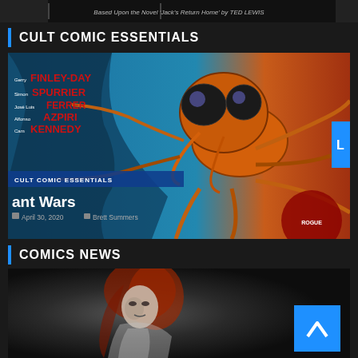[Figure (screenshot): Top strip showing partial text: Based Upon the Novel 'Jack's Return Home' by TED LEWIS]
CULT COMIC ESSENTIALS
[Figure (photo): Comic book cover art featuring a large alien insect creature with big eyes against a blue and orange background. Authors listed: Gerry FINLEY-DAY, Simon SPURRIER, José Luis FERRER, Alfonso AZPIRI, Cam KENNEDY. Card label: CULT COMIC ESSENTIALS. Title: ant Wars. Date: April 30, 2020. Author: Brett Summers.]
COMICS NEWS
[Figure (photo): Dark fantasy image showing a pale woman with red/auburn hair in a grey misty background. Blue scroll-to-top button with upward chevron in lower right.]